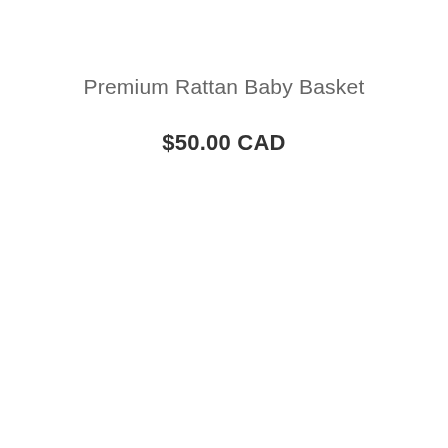Premium Rattan Baby Basket
$50.00 CAD